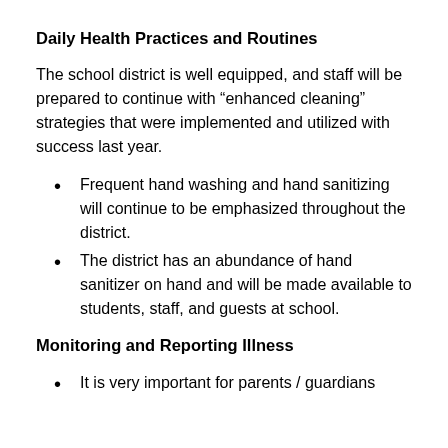Daily Health Practices and Routines
The school district is well equipped, and staff will be prepared to continue with “enhanced cleaning” strategies that were implemented and utilized with success last year.
Frequent hand washing and hand sanitizing will continue to be emphasized throughout the district.
The district has an abundance of hand sanitizer on hand and will be made available to students, staff, and guests at school.
Monitoring and Reporting Illness
It is very important for parents / guardians